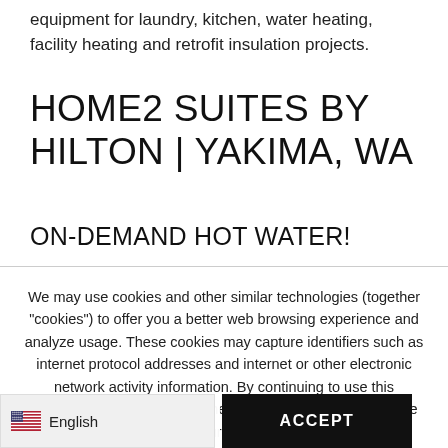equipment for laundry, kitchen, water heating, facility heating and retrofit insulation projects.
HOME2 SUITES BY HILTON | YAKIMA, WA
ON-DEMAND HOT WATER!
We may use cookies and other similar technologies (together "cookies") to offer you a better web browsing experience and analyze usage. These cookies may capture identifiers such as internet protocol addresses and internet or other electronic network activity information. By continuing to use this application, you consent to the use of cookies in accordance with our Privacy Policy
ACCEPT
English